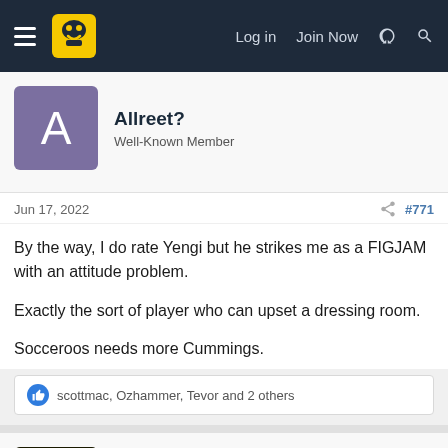Log in  Join Now
Allreet?
Well-Known Member
Jun 17, 2022  #771
By the way, I do rate Yengi but he strikes me as a FIGJAM with an attitude problem.

Exactly the sort of player who can upset a dressing room.

Socceroos needs more Cummings.
scottmac, Ozhammer, Tevor and 2 others
sydmariner
Well-Known Member